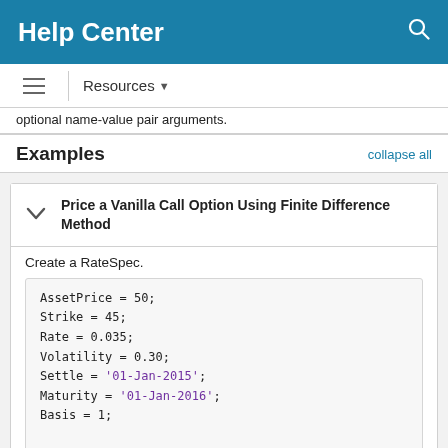Help Center
optional name-value pair arguments.
Examples
Price a Vanilla Call Option Using Finite Difference Method
Create a RateSpec.
AssetPrice = 50;
Strike = 45;
Rate = 0.035;
Volatility = 0.30;
Settle = '01-Jan-2015';
Maturity = '01-Jan-2016';
Basis = 1;

RateSpec = intenvset('ValuationDate',Settl